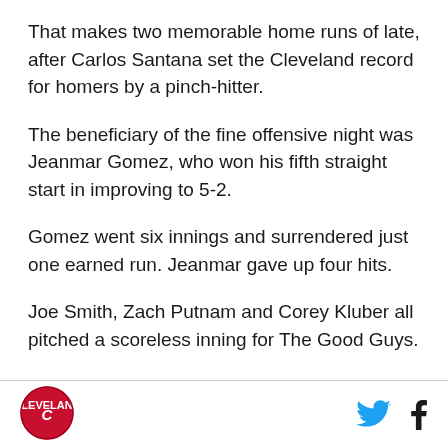That makes two memorable home runs of late, after Carlos Santana set the Cleveland record for homers by a pinch-hitter.
The beneficiary of the fine offensive night was Jeanmar Gomez, who won his fifth straight start in improving to 5-2.
Gomez went six innings and surrendered just one earned run. Jeanmar gave up four hits.
Joe Smith, Zach Putnam and Corey Kluber all pitched a scoreless inning for The Good Guys.
[Figure (logo): Cleveland Indians circular logo with C and text]
[Figure (other): Twitter and Facebook social media icons]